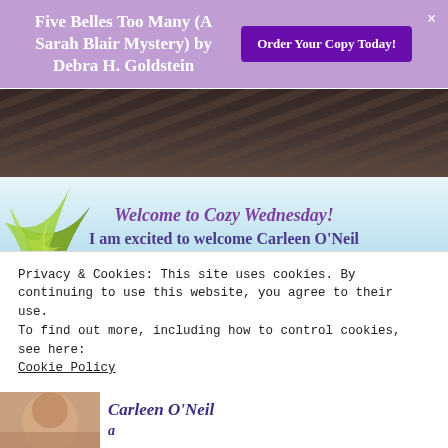Five Belles Too Many (A Sarah Blair Mystery) by Debra H. Goldstein
Order Your Copy Today!
[Figure (photo): Dark overhead photo of wooden dock/pier boards]
Welcome to Cozy Wednesday!
I am excited to welcome Carleen O’Neil (Penny Lively) to Escape With Dollycas today!
Privacy & Cookies: This site uses cookies. By continuing to use this website, you agree to their use.
To find out more, including how to control cookies, see here:
Cookie Policy
Close and accept
[Figure (photo): Partial view of author photo and 'Carleen O’Neil' text at bottom]